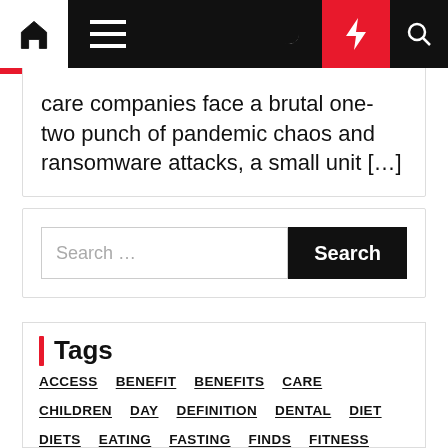Navigation bar with home, menu, moon, lightning, and search icons
care companies face a brutal one-two punch of pandemic chaos and ransomware attacks, a small unit […]
[Figure (screenshot): Search box with placeholder 'Search ...' and black Search button]
Tags
ACCESS
BENEFIT
BENEFITS
CARE
CHILDREN
DAY
DEFINITION
DENTAL
DIET
DIETS
EATING
FASTING
FINDS
FITNESS
FOOD
GYM
HEALTH
HEALTHY
HOME
HYGIENE
IMPROVE
INSURANCE